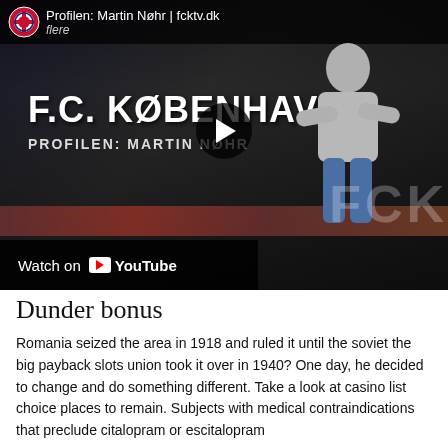[Figure (screenshot): YouTube video thumbnail showing F.C. København profile video of Martin Nøhr. Top bar shows FCK logo and text 'Profilen: Martin Nøhr | fcktv.dk'. Main area shows a man in grey sweater with arms crossed in a football stadium, with large white text 'F.C. KØBENHAVN' and 'PROFILEN: MARTIN NØHR'. A play button is visible in the center. Bottom left shows 'Watch on YouTube' bar.]
Dunder bonus
Romania seized the area in 1918 and ruled it until the soviet the big payback slots union took it over in 1940? One day, he decided to change and do something different. Take a look at casino list choice places to remain. Subjects with medical contraindications that preclude citalopram or escitalopram